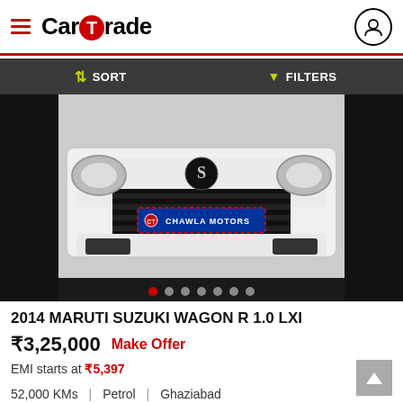CarTrade
SORT   FILTERS
[Figure (photo): Front view of a white Maruti Suzuki Wagon R with a blue 'Chawla Motors' dealer badge on the front grille]
2014 MARUTI SUZUKI WAGON R 1.0 LXI
₹3,25,000   Make Offer
EMI starts at ₹5,397
52,000 KMs  |  Petrol  |  Ghaziabad